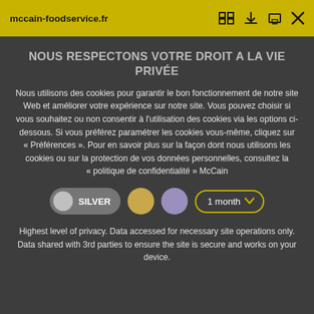mccain-foodservice.fr
NOUS RESPECTONS VOTRE DROIT A LA VIE PRIVÉE
Nous utilisons des cookies pour garantir le bon fonctionnement de notre site Web et améliorer votre expérience sur notre site. Vous pouvez choisir si vous souhaitez ou non consentir à l'utilisation des cookies via les options ci-dessous. Si vous préférez paramétrer les cookies vous-même, cliquez sur « Préférences ». Pour en savoir plus sur la façon dont nous utilisons les cookies ou sur la protection de vos données personnelles, consultez la « politique de confidentialité » McCain
Highest level of privacy. Data accessed for necessary site operations only. Data shared with 3rd parties to ensure the site is secure and works on your device.